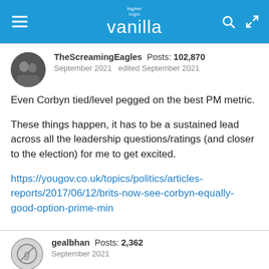higher logic vanilla
TheScreamingEagles  Posts: 102,870
September 2021  edited September 2021
Even Corbyn tied/level pegged on the best PM metric.

These things happen, it has to be a sustained lead across all the leadership questions/ratings (and closer to the election) for me to get excited.

https://yougov.co.uk/topics/politics/articles-reports/2017/06/12/brits-now-see-corbyn-equally-good-option-prime-min
gealbhan  Posts: 2,362
September 2021